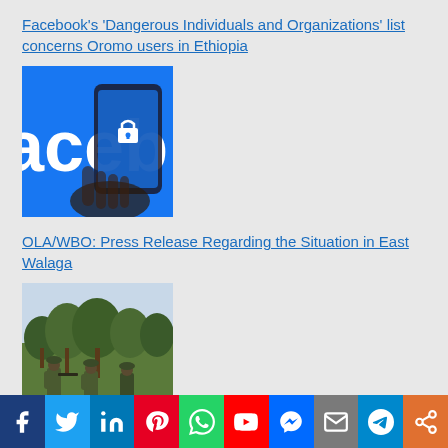Facebook's 'Dangerous Individuals and Organizations' list concerns Oromo users in Ethiopia
[Figure (photo): Hand holding a smartphone displaying the Facebook logo and a lock icon on a blue background]
OLA/WBO: Press Release Regarding the Situation in East Walaga
[Figure (photo): Soldiers in camouflage uniforms standing in a green forested area]
Social sharing bar: Facebook, Twitter, LinkedIn, Pinterest, WhatsApp, YouTube, Messenger, Email, Telegram, Share